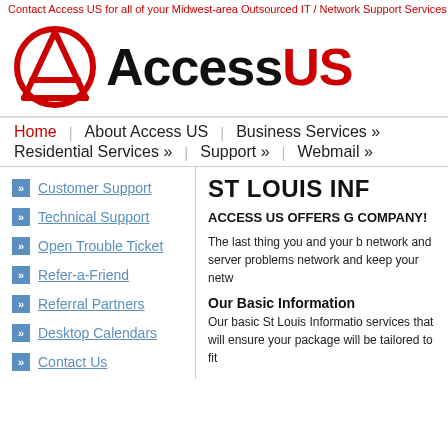Contact Access US for all of your Midwest-area Outsourced IT / Network Support Services including manage
[Figure (logo): Access US logo: red circle with A-frame triangle symbol, followed by bold text 'Access' in black and 'US' in red]
Home
About Access US
Business Services »
Residential Services »
Support »
Webmail »
Customer Support
Technical Support
Open Trouble Ticket
Refer-a-Friend
Referral Partners
Desktop Calendars
Contact Us
ST LOUIS INF
ACCESS US OFFERS G COMPANY!
The last thing you and your b network and server problems network and keep your netw
Our Basic Information
Our basic St Louis Informatio services that will ensure your package will be tailored to fit